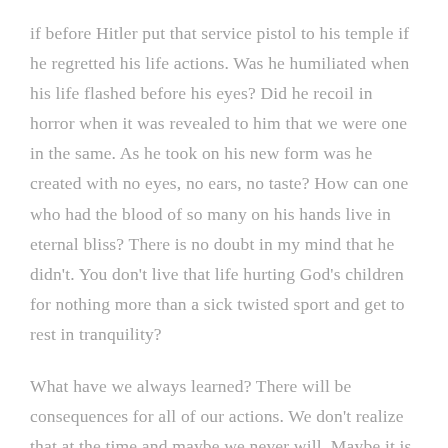if before Hitler put that service pistol to his temple if he regretted his life actions. Was he humiliated when his life flashed before his eyes? Did he recoil in horror when it was revealed to him that we were one in the same. As he took on his new form was he created with no eyes, no ears, no taste? How can one who had the blood of so many on his hands live in eternal bliss? There is no doubt in my mind that he didn't. You don't live that life hurting God's children for nothing more than a sick twisted sport and get to rest in tranquility?
What have we always learned? There will be consequences for all of our actions. We don't realize that at the time and maybe we never will. Maybe it is not our actions that are being retaliated but those of